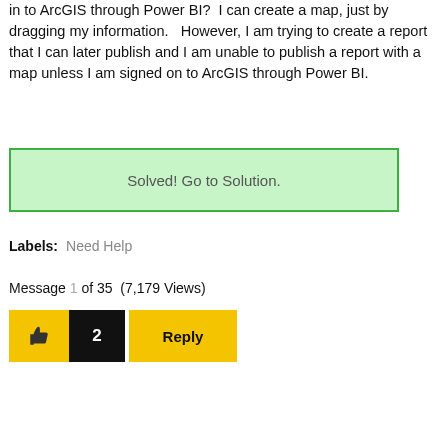in to ArcGIS through Power BI?  I can create a map, just by dragging my information.   However, I am trying to create a report that I can later publish and I am unable to publish a report with a map unless I am signed on to ArcGIS through Power BI.
[Figure (other): Green bordered box with text 'Solved! Go to Solution.']
Labels:   Need Help
Message 1 of 35  (7,179 Views)
[Figure (other): Thumbs up button (yellow), count badge showing 2 (black), and Reply button (yellow)]